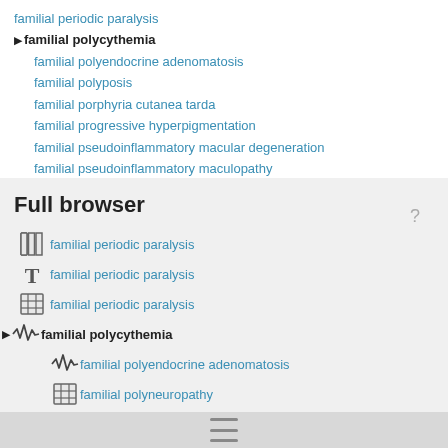familial periodic paralysis
► familial polycythemia
familial polyendocrine adenomatosis
familial polyposis
familial porphyria cutanea tarda
familial progressive hyperpigmentation
familial pseudoinflammatory macular degeneration
familial pseudoinflammatory maculopathy
Full browser
familial periodic paralysis [book icon]
familial periodic paralysis [T icon]
familial periodic paralysis [table icon]
► familial polycythemia [waveform icon]
familial polyendocrine adenomatosis [waveform icon]
familial polyneuropathy [table icon]